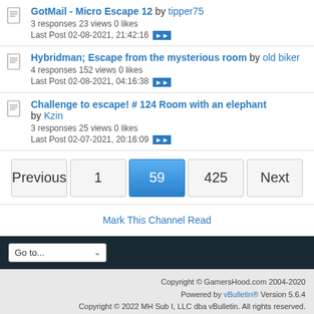GotMail - Micro Escape 12 by tipper75
3 responses 23 views 0 likes
Last Post 02-08-2021, 21:42:16
Hybridman; Escape from the mysterious room by old biker
4 responses 152 views 0 likes
Last Post 02-08-2021, 04:16:38
Challenge to escape! # 124 Room with an elephant by Kzin
3 responses 25 views 0 likes
Last Post 02-07-2021, 20:16:09
Previous | 1 | 59 | 425 | Next
Mark This Channel Read
Go to...
Copyright © GamersHood.com 2004-2020
Powered by vBulletin® Version 5.6.4
Copyright © 2022 MH Sub I, LLC dba vBulletin. All rights reserved.
All times are GMT. This page was generated at 1 minute ago.